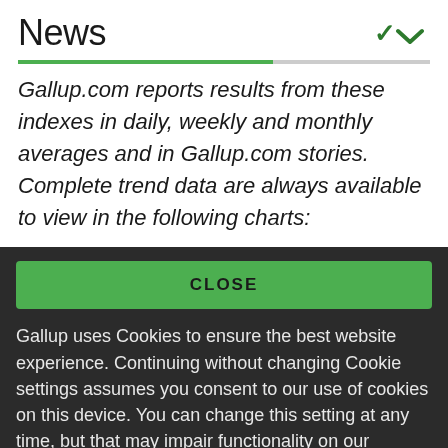News
Gallup.com reports results from these indexes in daily, weekly and monthly averages and in Gallup.com stories. Complete trend data are always available to view in the following charts:
CLOSE
Gallup uses Cookies to ensure the best website experience. Continuing without changing Cookie settings assumes you consent to our use of cookies on this device. You can change this setting at any time, but that may impair functionality on our websites.
Privacy Statement   Site Terms of Use and Sale
Product Terms of Use   Adjust your cookie settings.